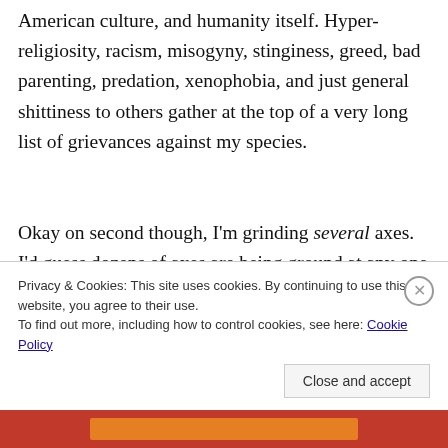American culture, and humanity itself. Hyper-religiosity, racism, misogyny, stinginess, greed, bad parenting, predation, xenophobia, and just general shittiness to others gather at the top of a very long list of grievances against my species.
Okay on second though, I'm grinding several axes. I'd guess dozens of axes are being ground at any one given time, depending on how many stories I'm working on at the same time.
Privacy & Cookies: This site uses cookies. By continuing to use this website, you agree to their use.
To find out more, including how to control cookies, see here: Cookie Policy
Close and accept